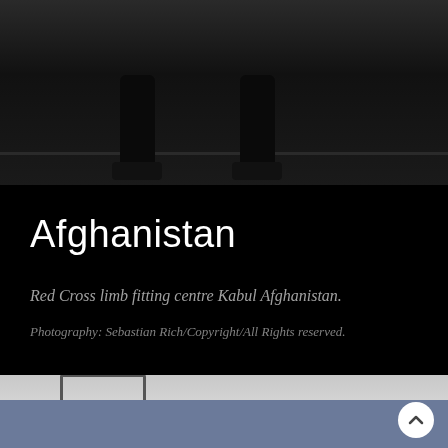[Figure (photo): Black and white photograph of prosthetic or ballet feet/legs standing on a floor, viewed from below]
Afghanistan
Red Cross limb fitting centre Kabul Afghanistan.
Photography: Sebastian Rich/Copyright/All Rights reserved.
[Figure (photo): Black and white photograph showing what appears to be a wheelchair or prosthetic device]